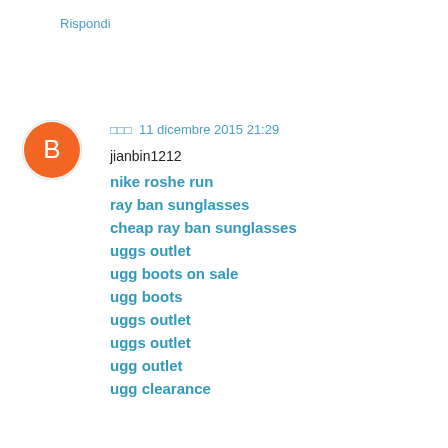Rispondi
□□□  11 dicembre 2015 21:29
jianbin1212
nike roshe run
ray ban sunglasses
cheap ray ban sunglasses
uggs outlet
ugg boots on sale
ugg boots
uggs outlet
uggs outlet
ugg outlet
ugg clearance
michael kors outlet online
michael kors handbags
michael kors handbags wholesale
michael kors handbags clearance
michael kors outlet sale
michael kors outlet
michael kors online outlet